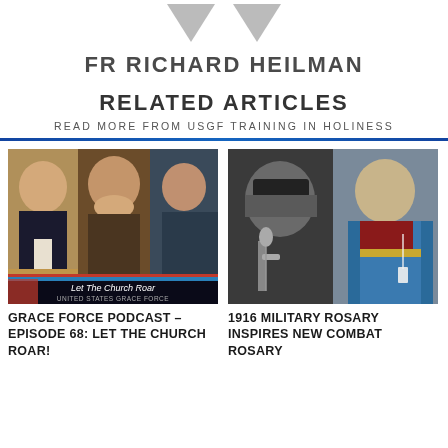[Figure (logo): Two gray downward-pointing chevrons/arrows used as logo graphic for USGF]
FR RICHARD HEILMAN
RELATED ARTICLES
READ MORE FROM USGF TRAINING IN HOLINESS
[Figure (photo): Screenshot of a video podcast showing three men in a video call frame with text 'Let The Church Roar' and 'UNITED STATES GRACE FORCE' at the bottom.]
GRACE FORCE PODCAST – EPISODE 68: LET THE CHURCH ROAR!
[Figure (photo): Two-panel photo: left side black and white image of a person in a hat holding a rosary cross, right side color image of a man in historical military/ceremonial armor with a rosary.]
1916 MILITARY ROSARY INSPIRES NEW COMBAT ROSARY